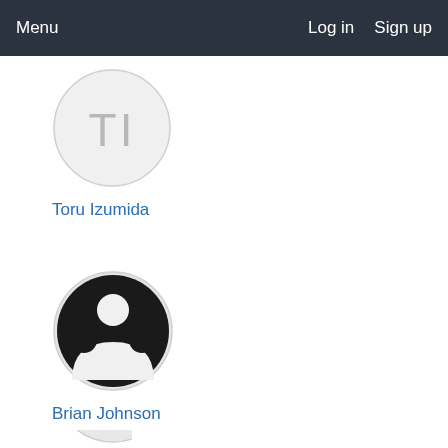Menu  Log in  Sign up
[Figure (illustration): Avatar placeholder circle with initials TI in gray on light background]
Toru Izumida
[Figure (photo): User avatar with black silhouette person icon on dark background circle]
Brian Johnson
[Figure (illustration): Partial avatar circle visible at bottom of page]